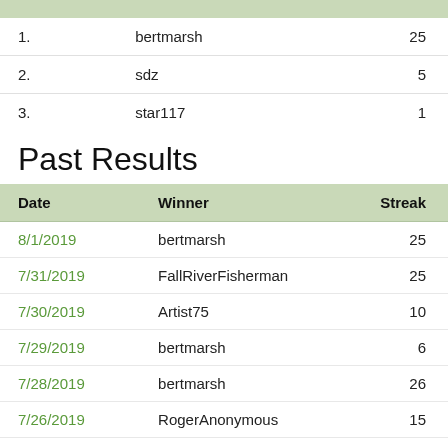|  |  |  |
| --- | --- | --- |
| 1. | bertmarsh | 25 |
| 2. | sdz | 5 |
| 3. | star117 | 1 |
Past Results
| Date | Winner | Streak |
| --- | --- | --- |
| 8/1/2019 | bertmarsh | 25 |
| 7/31/2019 | FallRiverFisherman | 25 |
| 7/30/2019 | Artist75 | 10 |
| 7/29/2019 | bertmarsh | 6 |
| 7/28/2019 | bertmarsh | 26 |
| 7/26/2019 | RogerAnonymous | 15 |
| 7/25/2019 | bertmarsh | 25 |